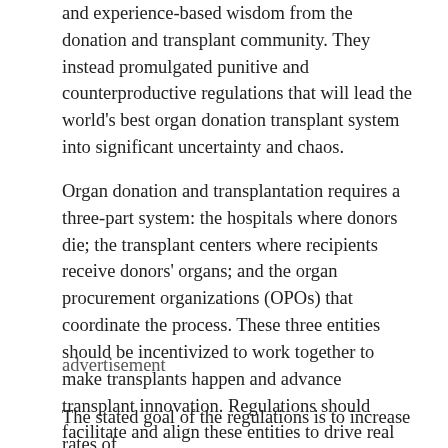and experience-based wisdom from the donation and transplant community. They instead promulgated punitive and counterproductive regulations that will lead the world’s best organ donation transplant system into significant uncertainty and chaos.
Organ donation and transplantation requires a three-part system: the hospitals where donors die; the transplant centers where recipients receive donors’ organs; and the organ procurement organizations (OPOs) that coordinate the process. These three entities should be incentivized to work together to make transplants happen and advance transplant innovation. Regulations should facilitate and align these entities to drive real improvement for patients.
advertisement
The stated goal of the regulations is to increase rates of